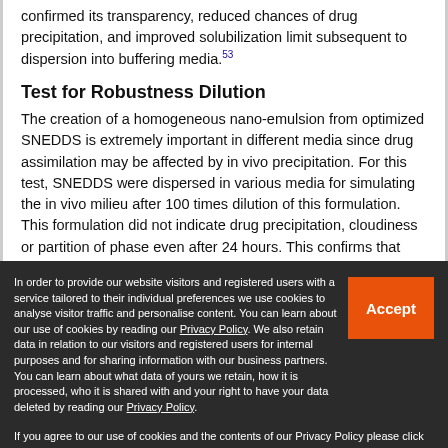confirmed its transparency, reduced chances of drug precipitation, and improved solubilization limit subsequent to dispersion into buffering media.53
Test for Robustness Dilution
The creation of a homogeneous nano-emulsion from optimized SNEDDS is extremely important in different media since drug assimilation may be affected by in vivo precipitation. For this test, SNEDDS were dispersed in various media for simulating the in vivo milieu after 100 times dilution of this formulation. This formulation did not indicate drug precipitation, cloudiness or partition of phase even after 24 hours. This confirms that SNEDDS passed robustness
In order to provide our website visitors and registered users with a service tailored to their individual preferences we use cookies to analyse visitor traffic and personalise content. You can learn about our use of cookies by reading our Privacy Policy. We also retain data in relation to our visitors and registered users for internal purposes and for sharing information with our business partners. You can learn about what data of yours we retain, how it is processed, who it is shared with and your right to have your data deleted by reading our Privacy Policy. If you agree to our use of cookies and the contents of our Privacy Policy please click 'accept'.